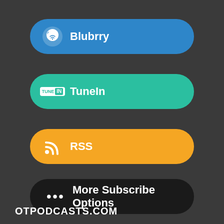[Figure (screenshot): Blue rounded button with Blubrry logo (white blueberry icon) and text 'Blubrry' in white bold font]
[Figure (screenshot): Teal/green rounded button with TuneIn logo (white box with TUNE IN text) and text 'TuneIn' in white bold font]
[Figure (screenshot): Orange rounded button with RSS feed icon (white wifi/rss symbol) and text 'RSS' in white bold font]
[Figure (screenshot): Dark/black rounded button with three dots icon and text 'More Subscribe Options' in white bold font]
OTPODCASTS.COM